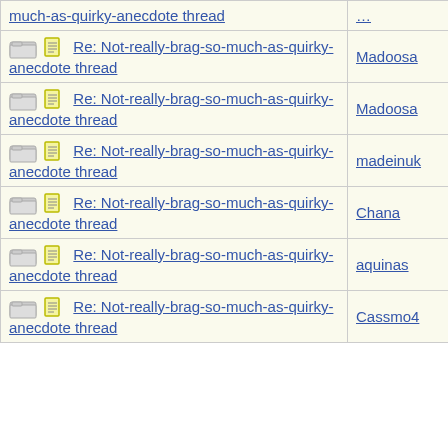| Subject | Author |
| --- | --- |
| much-as-quirky-anecdote thread |  |
| Re: Not-really-brag-so-much-as-quirky-anecdote thread | Madoosa |
| Re: Not-really-brag-so-much-as-quirky-anecdote thread | Madoosa |
| Re: Not-really-brag-so-much-as-quirky-anecdote thread | madeinuk |
| Re: Not-really-brag-so-much-as-quirky-anecdote thread | Chana |
| Re: Not-really-brag-so-much-as-quirky-anecdote thread | aquinas |
| Re: Not-really-brag-so-much-as-quirky-anecdote thread | Cassmo4 |